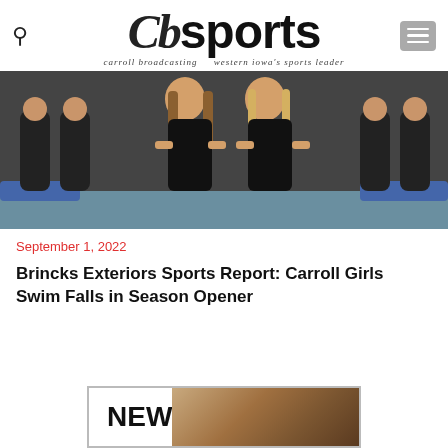CB Sports — carroll broadcasting western iowa's sports leader
[Figure (photo): Two young female swimmers in black swimsuits posing at the pool edge, with teammates kneeling in the background.]
September 1, 2022
Brincks Exteriors Sports Report: Carroll Girls Swim Falls in Season Opener
[Figure (other): Advertisement box with the word NEW on left side and a wood flooring image on the right.]